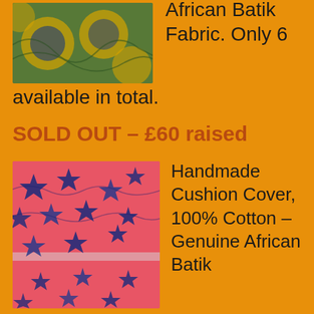[Figure (photo): African Batik Fabric folded/laid flat, showing colorful pattern with circular motifs in green, yellow, blue on orange background]
African Batik Fabric. Only 6 available in total.
SOLD OUT – £60 raised
[Figure (photo): Handmade cushion cover in pink/red with blue star pattern, 100% cotton, genuine African Batik fabric]
Handmade Cushion Cover, 100% Cotton – Genuine African Batik Fabric. Only 6 available in total